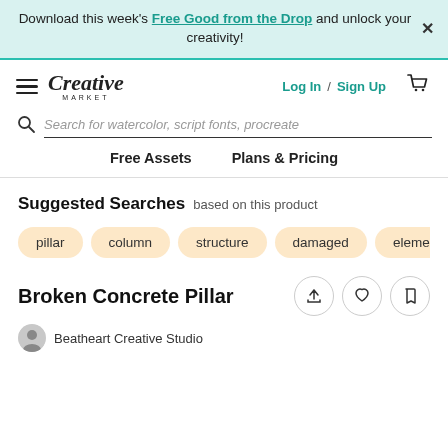Download this week's Free Good from the Drop and unlock your creativity!
[Figure (screenshot): Creative Market logo with hamburger menu]
Log In / Sign Up
Search for watercolor, script fonts, procreate
Free Assets   Plans & Pricing
Suggested Searches based on this product
pillar
column
structure
damaged
elemen
Broken Concrete Pillar
Beatheart Creative Studio